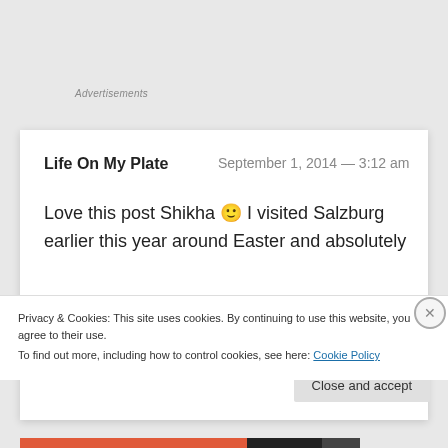Advertisements
Life On My Plate  September 1, 2014 — 3:12 am
Love this post Shikha 🙂 I visited Salzburg earlier this year around Easter and absolutely
Privacy & Cookies: This site uses cookies. By continuing to use this website, you agree to their use.
To find out more, including how to control cookies, see here: Cookie Policy
Close and accept